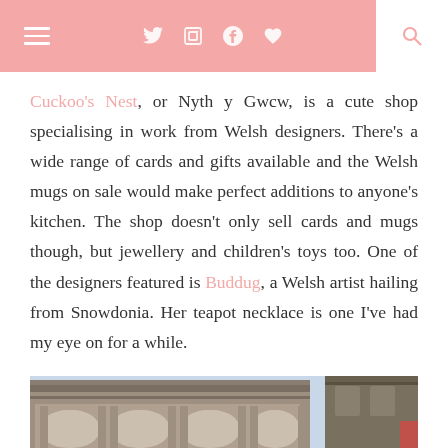Navigation header with hamburger menu, social icons, and search
Cuckoo's Nest, or Nyth y Gwcw, is a cute shop specialising in work from Welsh designers. There's a wide range of cards and gifts available and the Welsh mugs on sale would make perfect additions to anyone's kitchen. The shop doesn't only sell cards and mugs though, but jewellery and children's toys too. One of the designers featured is Buddug, a Welsh artist hailing from Snowdonia. Her teapot necklace is one I've had my eye on for a while.
[Figure (photo): Exterior facade of a Victorian-era building with arched columns and decorative stonework, partial view showing the top and upper storeys]